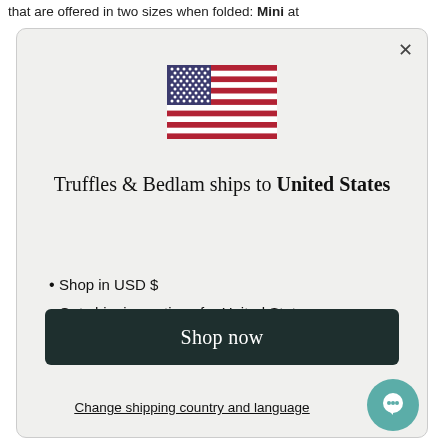that are offered in two sizes when folded: Mini at
[Figure (illustration): US flag icon - rectangular flag with blue canton with white stars and red and white horizontal stripes]
Truffles & Bedlam ships to United States
Shop in USD $
Get shipping options for United States
Language set to English
Shop now
Change shipping country and language